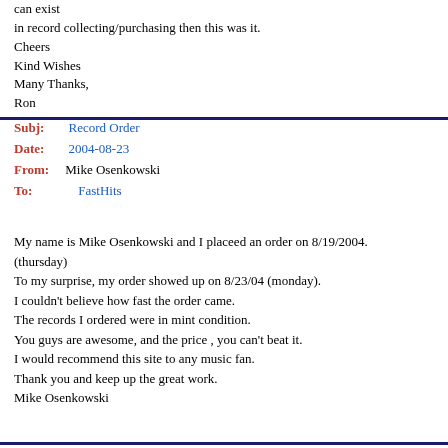can exist
in record collecting/purchasing then this was it.
Cheers
Kind Wishes
Many Thanks,
Ron
Subj: Record Order
Date: 2004-08-23
From: Mike Osenkowski
To: FastHits
My name is Mike Osenkowski and I placeed an order on 8/19/2004. (thursday)
To my surprise, my order showed up on 8/23/04 (monday).
I couldn't believe how fast the order came.
The records I ordered were in mint condition.
You guys are awesome, and the price , you can't beat it.
I would recommend this site to any music fan.
Thank you and keep up the great work.
Mike Osenkowski